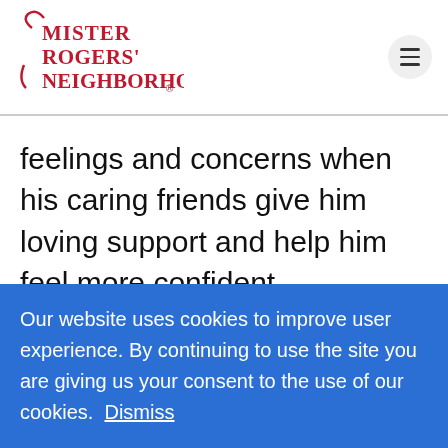[Figure (logo): Mister Rogers' Neighborhood logo in red serif script font with decorative swash]
feelings and concerns when his caring friends give him loving support and help him feel more confident.
Ugga mugga
Our website uses cookies to improve user experience. By continuing to use the site you are giving us your consent to the use of our cookies.  Dismiss